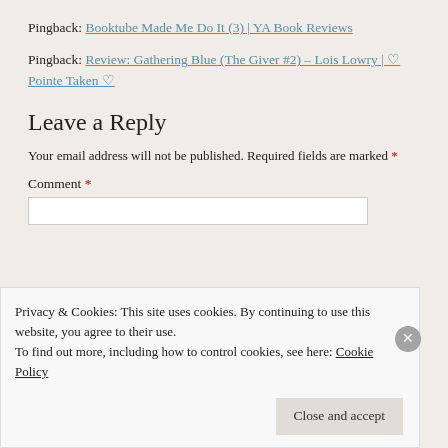Pingback: Booktube Made Me Do It (3) | YA Book Reviews
Pingback: Review: Gathering Blue (The Giver #2) – Lois Lowry | ♡ Pointe Taken ♡
Leave a Reply
Your email address will not be published. Required fields are marked *
Comment *
Privacy & Cookies: This site uses cookies. By continuing to use this website, you agree to their use. To find out more, including how to control cookies, see here: Cookie Policy
Close and accept